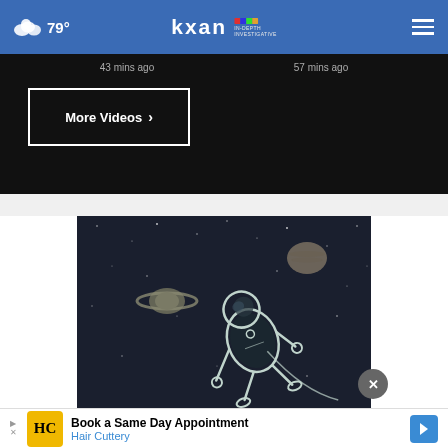79° kxan IN-DEPTH INVESTIGATIVE
43 mins ago   57 mins ago
More Videos ▸
[Figure (illustration): Illustration of an astronaut floating in space wearing a spacesuit, with Saturn and another planet visible in the starry dark background.]
Book a Same Day Appointment Hair Cuttery